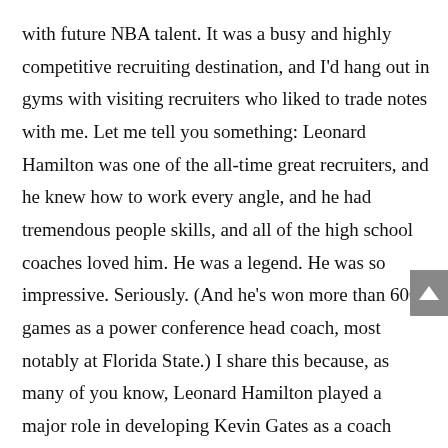with future NBA talent. It was a busy and highly competitive recruiting destination, and I'd hang out in gyms with visiting recruiters who liked to trade notes with me. Let me tell you something: Leonard Hamilton was one of the all-time great recruiters, and he knew how to work every angle, and he had tremendous people skills, and all of the high school coaches loved him. He was a legend. He was so impressive. Seriously. (And he's won more than 600 games as a power conference head coach, most notably at Florida State.) I share this because, as many of you know, Leonard Hamilton played a major role in developing Kevin Gates as a coach recruiter. Gates' Florida State years (as an assistant) shaped him in a profound way, and anyone who was schooled in recruiting by Leonard Hamilton had a head start on other young coaches who aspired to run their own programs. Gates is a Hamilton guy – Hamilton views him as a son – and that's a really big deal, and that's one of the